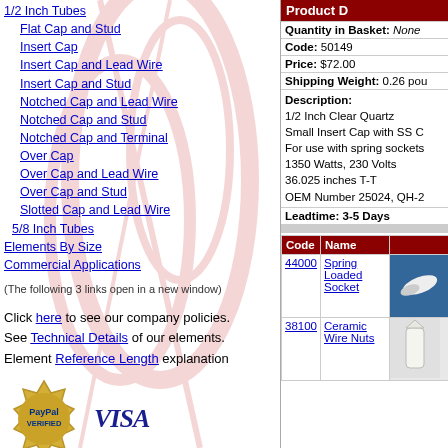1/2 Inch Tubes
Flat Cap and Stud
Insert Cap
Insert Cap and Lead Wire
Insert Cap and Stud
Notched Cap and Lead Wire
Notched Cap and Stud
Notched Cap and Terminal
Over Cap
Over Cap and Lead Wire
Over Cap and Stud
Slotted Cap and Lead Wire
5/8 Inch Tubes
Elements By Size
Commercial Applications
(The following 3 links open in a new window) Click here to see our company policies. See Technical Details of our elements. Element Reference Length explanation
[Figure (logo): PayPal Verified seal (gold starburst badge) and VISA logo]
[Figure (logo): MasterCard and Discover Network card logos]
Product D
| Field | Value |
| --- | --- |
| Quantity in Basket: | None |
| Code: | 50149 |
| Price: | $72.00 |
| Shipping Weight: | 0.26 pou |
| Description: | 1/2 Inch Clear Quartz
Small Insert Cap with SS C
For use with spring sockets
1350 Watts, 230 Volts
36.025 inches T-T
OEM Number 25024, QH-2 |
| Leadtime: | 3-5 Days |
| Code | Name |  |
| --- | --- | --- |
| 44000 | Spring Loaded Socket |  |
| 38100 | Ceramic Wire Nuts |  |